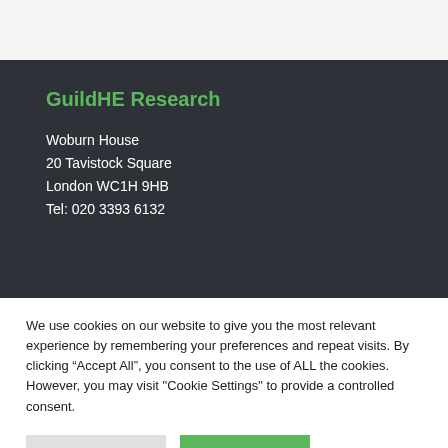GuildHE Research
Woburn House
20 Tavistock Square
London WC1H 9HB
Tel: 020 3393 6132
We use cookies on our website to give you the most relevant experience by remembering your preferences and repeat visits. By clicking “Accept All”, you consent to the use of ALL the cookies. However, you may visit "Cookie Settings" to provide a controlled consent.
Cookie Settings | Accept All